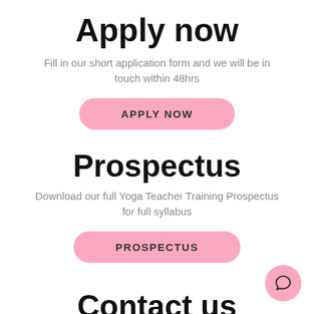Apply now
Fill in our short application form and we will be in touch within 48hrs
APPLY NOW
Prospectus
Download our full Yoga Teacher Training Prospectus for full syllabus
PROSPECTUS
Contact us